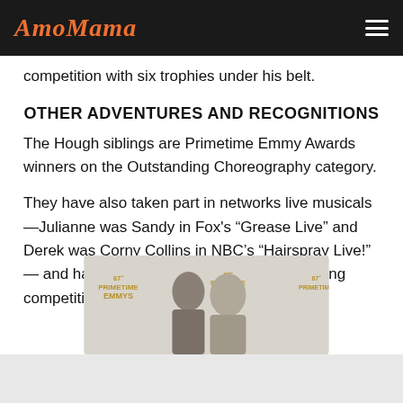AmoMama
competition with six trophies under his belt.
OTHER ADVENTURES AND RECOGNITIONS
The Hough siblings are Primetime Emmy Awards winners on the Outstanding Choreography category.
They have also taken part in networks live musicals—Julianne was Sandy in Fox's “Grease Live” and Derek was Corny Collins in NBC’s “Hairspray Live!” — and have joined the judging panel in dancing competitions on TV.
[Figure (photo): Photo of two people (Derek and Julianne Hough) at the 67th Emmys awards backdrop.]